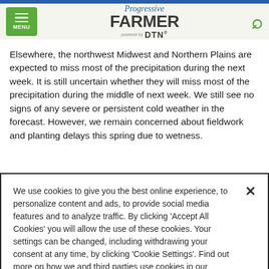Progressive Farmer powered by DTN — MENU / Search
Elsewhere, the northwest Midwest and Northern Plains are expected to miss most of the precipitation during the next week. It is still uncertain whether they will miss most of the precipitation during the middle of next week. We still see no signs of any severe or persistent cold weather in the forecast. However, we remain concerned about fieldwork and planting delays this spring due to wetness.
We use cookies to give you the best online experience, to personalize content and ads, to provide social media features and to analyze traffic. By clicking 'Accept All Cookies' you will allow the use of these cookies. Your settings can be changed, including withdrawing your consent at any time, by clicking 'Cookie Settings'. Find out more on how we and third parties use cookies in our Cookie Policy
Cookies Settings | Accept All Cookies